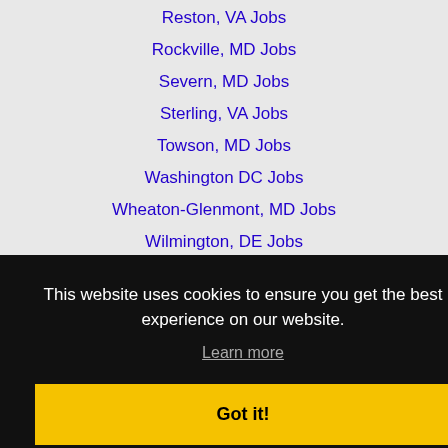Reston, VA Jobs
Rockville, MD Jobs
Severn, MD Jobs
Sterling, VA Jobs
Towson, MD Jobs
Washington DC Jobs
Wheaton-Glenmont, MD Jobs
Wilmington, DE Jobs
This website uses cookies to ensure you get the best experience on our website.
Learn more
Got it!